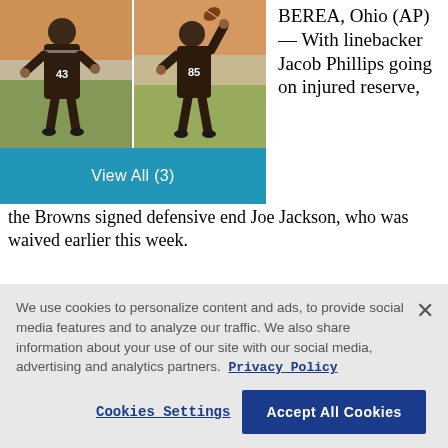[Figure (photo): Two Cleveland Browns players at practice. Left player wearing number 43, right player throwing a football, wearing number 85.]
BEREA, Ohio (AP) — With linebacker Jacob Phillips going on injured reserve, the Browns signed defensive end Joe Jackson, who was waived earlier this week.
We use cookies to personalize content and ads, to provide social media features and to analyze our traffic. We also share information about your use of our site with our social media, advertising and analytics partners. Privacy Policy
Cookies Settings
Accept All Cookies